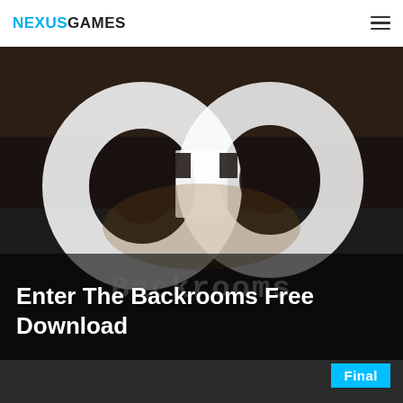NEXUSGAMES
[Figure (screenshot): Hero image showing the Backrooms game cover art with a blurred infinity symbol logo on a dark background and 'Backrooms' text watermark]
Enter The Backrooms Free Download
Final